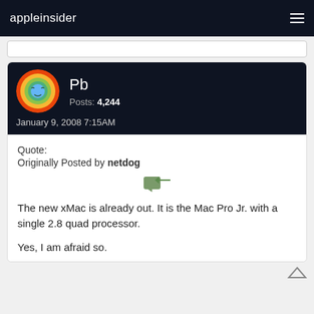appleinsider
Pb
Posts: 4,244
January 9, 2008 7:15AM
Quote:
Originally Posted by netdog
The new xMac is already out. It is the Mac Pro Jr. with a single 2.8 quad processor.
Yes, I am afraid so.